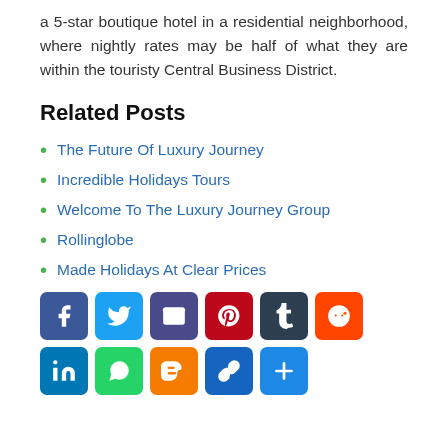a 5-star boutique hotel in a residential neighborhood, where nightly rates may be half of what they are within the touristy Central Business District.
Related Posts
The Future Of Luxury Journey
Incredible Holidays Tours
Welcome To The Luxury Journey Group
Rollinglobe
Made Holidays At Clear Prices
[Figure (infographic): Social sharing buttons: Facebook, Twitter, Email, Pinterest, Tumblr, Reddit, LinkedIn, WhatsApp, Blogger, Copy Link, Add/More]